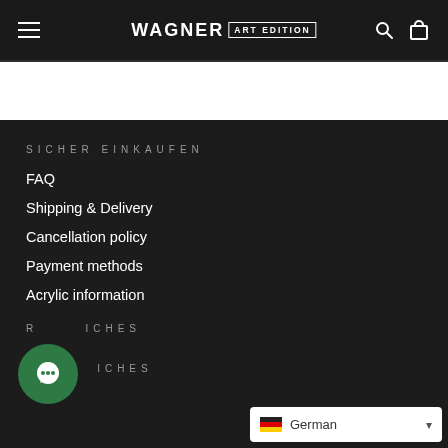WAGNER ART EDITION
SICHER EINKAUFEN
FAQ
Shipping & Delivery
Cancellation policy
Payment methods
Acrylic information
RECHTLICHES
AGB
[Figure (other): Green circular chat bubble icon]
German